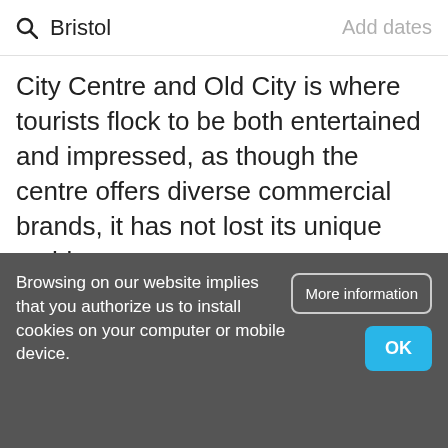Bristol | Add dates
City Centre and Old City is where tourists flock to be both entertained and impressed, as though the centre offers diverse commercial brands, it has not lost its unique architecture.
Clifton
If you want to visit Bristol for its pastel coloured houses and vintage boutiques, then
Browsing on our website implies that you authorize us to install cookies on your computer or mobile device.